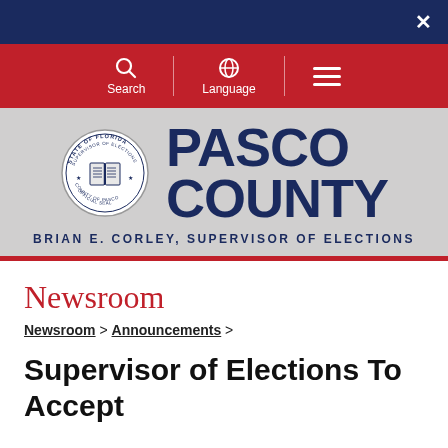×
[Figure (logo): Navigation bar with Search, Language, and hamburger menu icons on red background]
[Figure (logo): Pasco County Supervisor of Elections official seal and logo. Shows circular seal with STATE OF FLORIDA SUPERVISOR OF ELECTIONS OFFICIAL SEAL COUNTY OF PASCO text around an open book. Text reads PASCO COUNTY and BRIAN E. CORLEY, SUPERVISOR OF ELECTIONS on grey background.]
Newsroom
Newsroom > Announcements >
Supervisor of Elections To Accept